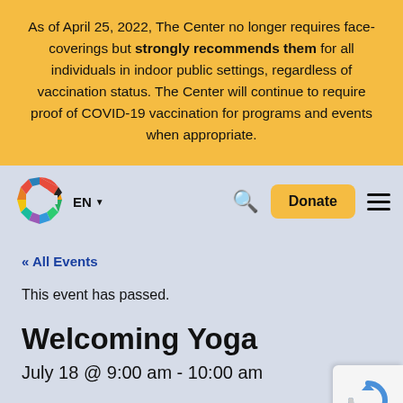As of April 25, 2022, The Center no longer requires face-coverings but strongly recommends them for all individuals in indoor public settings, regardless of vaccination status. The Center will continue to require proof of COVID-19 vaccination for programs and events when appropriate.
[Figure (logo): Colorful circular logo resembling a C shape, with multicolored segments]
EN
Donate
« All Events
This event has passed.
Welcoming Yoga
July 18 @ 9:00 am - 10:00 am